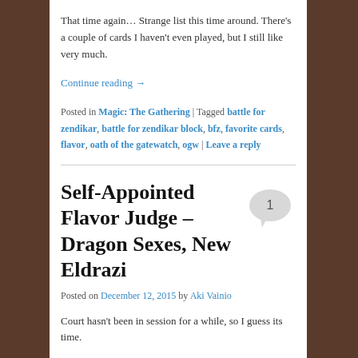That time again… Strange list this time around. There's a couple of cards I haven't even played, but I still like very much.
Continue reading →
Posted in Magic: The Gathering | Tagged battle for zendikar, battle for zendikar block, bfz, favorite cards, flavor, oath of the gatewatch, ogw | Leave a reply
Self-Appointed Flavor Judge – Dragon Sexes, New Eldrazi
Posted on December 12, 2015 by Aki Vainio
Court hasn't been in session for a while, so I guess its time.